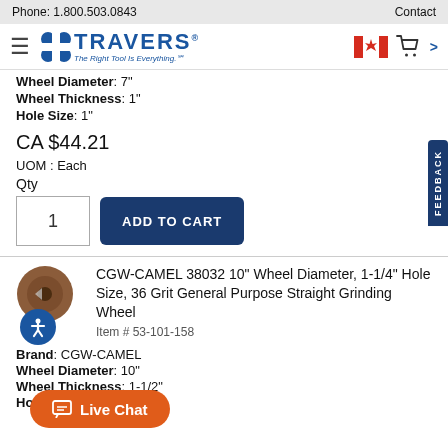Phone: 1.800.503.0843    Contact
[Figure (logo): Travers Tool logo with tagline 'The Right Tool Is Everything.' and navigation icons including Canadian flag and cart]
Wheel Diameter: 7"
Wheel Thickness: 1"
Hole Size: 1"
CA $44.21
UOM : Each
Qty
1  ADD TO CART
CGW-CAMEL 38032 10" Wheel Diameter, 1-1/4" Hole Size, 36 Grit General Purpose Straight Grinding Wheel
Item # 53-101-158
Brand: CGW-CAMEL
Wheel Diameter: 10"
Wheel Thickness: 1-1/2"
Hole Size: 1-1/4"